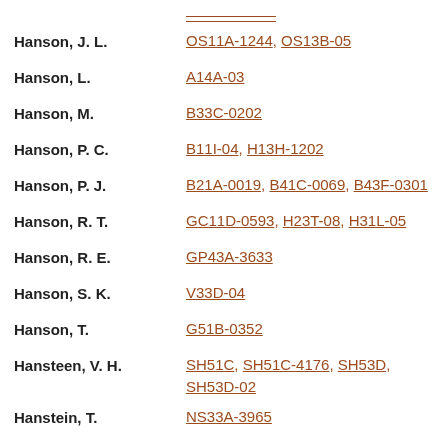Hanson, J. L. — OS11A-1244, OS13B-05
Hanson, L. — A14A-03
Hanson, M. — B33C-0202
Hanson, P. C. — B11I-04, H13H-1202
Hanson, P. J. — B21A-0019, B41C-0069, B43F-0301
Hanson, R. T. — GC11D-0593, H23T-08, H31L-05
Hanson, R. E. — GP43A-3633
Hanson, S. K. — V33D-04
Hanson, T. — G51B-0352
Hansteen, V. H. — SH51C, SH51C-4176, SH53D, SH53D-02
Hanstein, T. — NS33A-3965
Hantoro, W. S. — PP31B-1141
Hanyu, T. — V22B-04, V23G-05